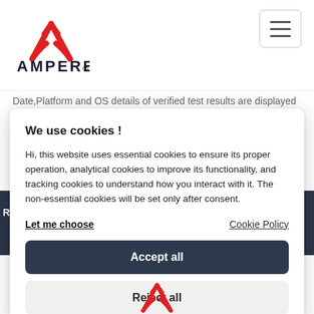[Figure (logo): Ampere company logo: red stylized letter A above the text AMPERE with a registered trademark symbol]
[Figure (other): Hamburger menu button (three horizontal lines) in a rounded rectangle border]
Date,Platform and OS details of verified test results are displayed on
We use cookies !
Hi, this website uses essential cookies to ensure its proper operation, analytical cookies to improve its functionality, and tracking cookies to understand how you interact with it. The non-essential cookies will be set only after consent.
Let me choose
Cookie Policy
Accept all
Reject all
[Figure (logo): Partial Ampere logo (red stylized A) visible at the bottom of the page]